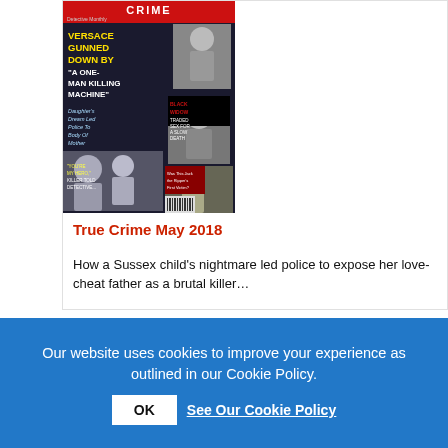[Figure (illustration): Magazine cover of 'True Crime' Detective Monthly, May 2018. Headlines include 'Versace Gunned Down By A One-Man Killing Machine', 'Daughter's Dream Led Police To Body Of Mother', 'Black Widow Traded Sex For A Slow Death', 'You're My Hero, Killer Told Detective...', 'Was This Jack The Ripper's First Victim?']
True Crime May 2018
How a Sussex child's nightmare led police to expose her love-cheat father as a brutal killer…
Our website uses cookies to improve your experience as outlined in our Cookie Policy.